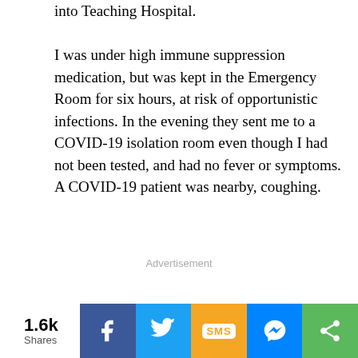into Teaching Hospital.
I was under high immune suppression medication, but was kept in the Emergency Room for six hours, at risk of opportunistic infections. In the evening they sent me to a COVID-19 isolation room even though I had not been tested, and had no fever or symptoms. A COVID-19 patient was nearby, coughing.
Advertisement
1.6k Shares | Facebook | Twitter | SMS | Messenger | Share